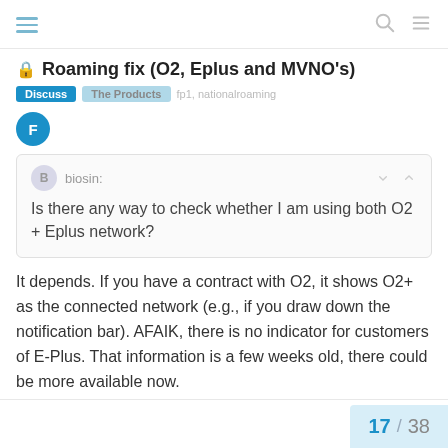Roaming fix (O2, Eplus and MVNO's)
Roaming fix (O2, Eplus and MVNO's)
Discuss  The Products  fp1, nationalroaming
biosin:
Is there any way to check whether I am using both O2 + Eplus network?
It depends. If you have a contract with O2, it shows O2+ as the connected network (e.g., if you draw down the notification bar). AFAIK, there is no indicator for customers of E-Plus. That information is a few weeks old, there could be more available now.
17 / 38